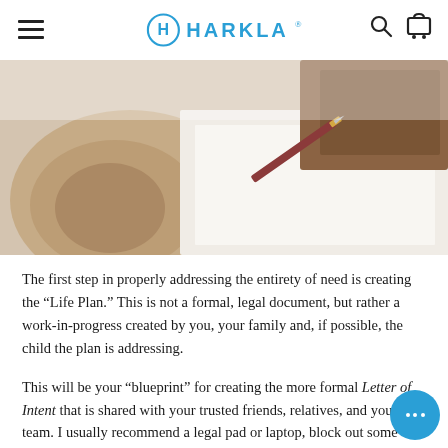HARKLA
[Figure (photo): Close-up photo of a wooden surface with a pen and white paper, suggesting a writing/planning environment]
The first step in properly addressing the entirety of need is creating the “Life Plan.” This is not a formal, legal document, but rather a work-in-progress created by you, your family and, if possible, the child the plan is addressing.
This will be your “blueprint” for creating the more formal Letter of Intent that is shared with your trusted friends, relatives, and your team. I usually recommend a legal pad or laptop, block out some time after dinner and bedtime with